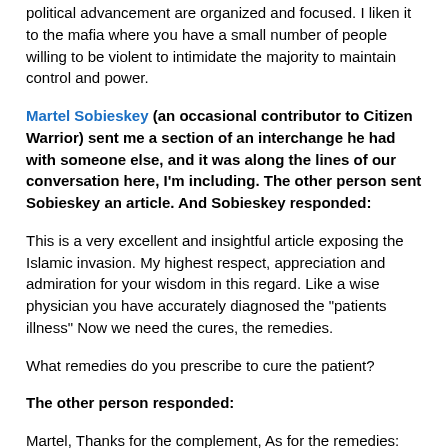political advancement are organized and focused. I liken it to the mafia where you have a small number of people willing to be violent to intimidate the majority to maintain control and power.
Martel Sobieskey (an occasional contributor to Citizen Warrior) sent me a section of an interchange he had with someone else, and it was along the lines of our conversation here, I'm including. The other person sent Sobieskey an article. And Sobieskey responded:
This is a very excellent and insightful article exposing the Islamic invasion. My highest respect, appreciation and admiration for your wisdom in this regard. Like a wise physician you have accurately diagnosed the "patients illness" Now we need the cures, the remedies.
What remedies do you prescribe to cure the patient?
The other person responded:
Martel, Thanks for the complement, As for the remedies: